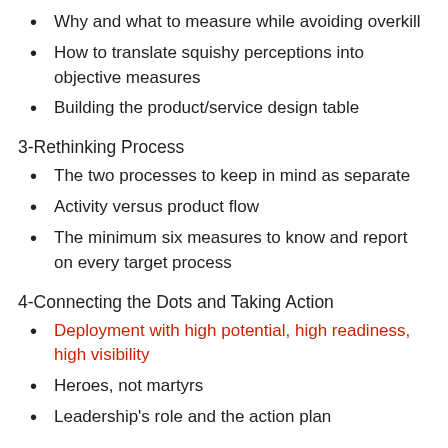Why and what to measure while avoiding overkill
How to translate squishy perceptions into objective measures
Building the product/service design table
3-Rethinking Process
The two processes to keep in mind as separate
Activity versus product flow
The minimum six measures to know and report on every target process
4-Connecting the Dots and Taking Action
Deployment with high potential, high readiness, high visibility
Heroes, not martyrs
Leadership's role and the action plan